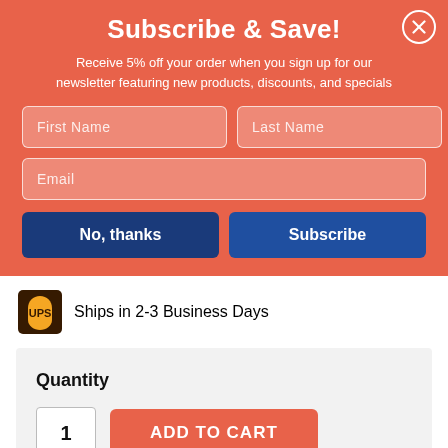Subscribe & Save!
Receive 5% off your order when you sign up for our newsletter featuring new products, discounts, and specials
[Figure (screenshot): Email subscription form with First Name, Last Name, and Email input fields]
Ships in 2-3 Business Days
Quantity
ADD TO CART
Add To Wishlist
Add To Favorites